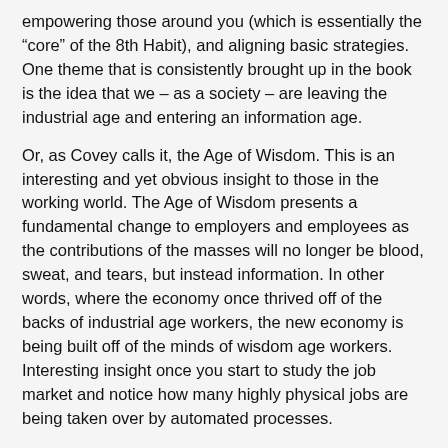empowering those around you (which is essentially the “core” of the 8th Habit), and aligning basic strategies. One theme that is consistently brought up in the book is the idea that we – as a society – are leaving the industrial age and entering an information age.
Or, as Covey calls it, the Age of Wisdom. This is an interesting and yet obvious insight to those in the working world. The Age of Wisdom presents a fundamental change to employers and employees as the contributions of the masses will no longer be blood, sweat, and tears, but instead information. In other words, where the economy once thrived off of the backs of industrial age workers, the new economy is being built off of the minds of wisdom age workers. Interesting insight once you start to study the job market and notice how many highly physical jobs are being taken over by automated processes.
And the introduction of automated processes isn’t a bad thing at all! In fact, it’s great because it will force many people to begin studying and researching new ways to contribute to their employer. Sure, it won’t happen on a mass scale, but I agree with Covey that one day we’ll look around and find ourselves immersed in an information age society. Could be faster than